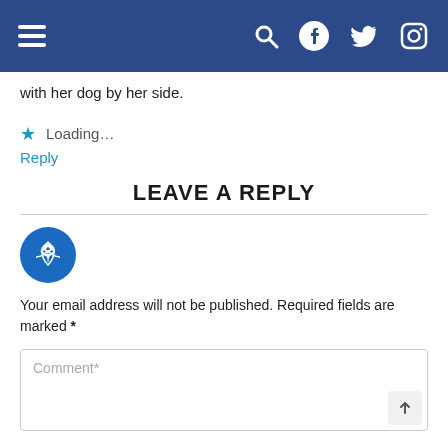Navigation bar with hamburger menu, search, Facebook, Twitter, Instagram icons
with her dog by her side.
Loading...
Reply
LEAVE A REPLY
[Figure (logo): Blue circular avatar with white wheat/leaf emblem]
Your email address will not be published. Required fields are marked *
Comment*